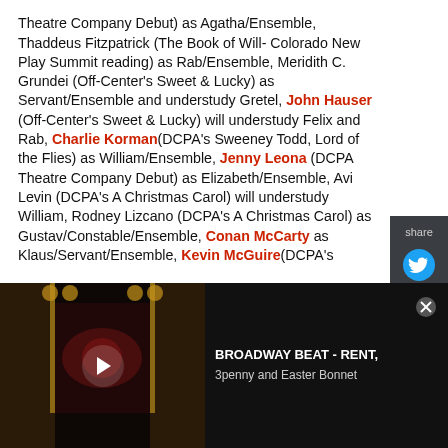Theatre Company Debut) as Agatha/Ensemble, Thaddeus Fitzpatrick (The Book of Will- Colorado New Play Summit reading) as Rab/Ensemble, Meridith C. Grundei (Off-Center's Sweet & Lucky) as Servant/Ensemble and understudy Gretel, John Hauser (Off-Center's Sweet & Lucky) will understudy Felix and Rab, Charlie Korman (DCPA's Sweeney Todd, Lord of the Flies) as William/Ensemble, Jenny Leona (DCPA Theatre Company Debut) as Elizabeth/Ensemble, Avi Levin (DCPA's A Christmas Carol) will understudy William, Rodney Lizcano (DCPA's A Christmas Carol) as Gustav/Constable/Ensemble, Conan McCarty as Klaus/Servant/Ensemble, Kevin McGuire (DCPA's
[Figure (screenshot): Share panel with Twitter and Facebook icons on dark background]
[Figure (screenshot): Video bar at bottom showing a theatre stage with play button, title BROADWAY BEAT - RENT, 3penny and Easter Bonnet]